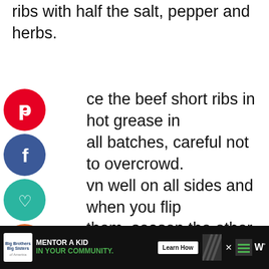ribs with half the salt, pepper and herbs.
Place the beef short ribs in hot grease in small batches, careful not to overcrowd. Brown well on all sides and when you flip them, season the other side with remaining salt, pepper and herbs (rationed so that you cover all the ribs).
[Figure (screenshot): Social media share buttons: Pinterest (red), Facebook (dark blue), Heart/Save (teal), Yum (orange), Twitter (light blue)]
[Figure (screenshot): Right side icons: teal heart icon, grey share icon]
ADVERTISEMENT
[Figure (screenshot): What's Next panel: Easy Ribs with thumbnail image]
[Figure (screenshot): Advertisement banner: Big Brothers Big Sisters - MENTOR A KID IN YOUR COMMUNITY. Learn How button]